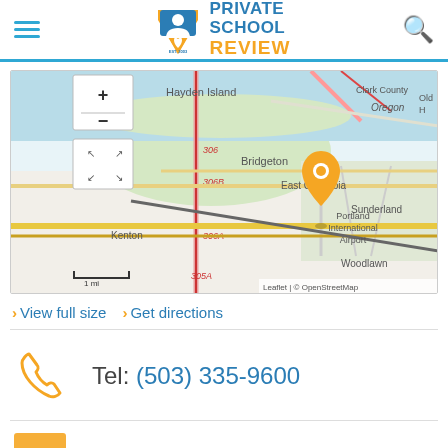Private School Review — navigation header with logo
[Figure (map): Interactive map showing Portland area including Hayden Island, Oregon, Clark County, Bridgeton, East Columbia, Sunderland, Kenton, Woodlawn, Portland International Airport, with an orange location pin marker. Shows route numbers 306, 306A, 306B, 305A. Scale bar shows 1 mi. Attribution: Leaflet | © OpenStreetMap]
> View full size  > Get directions
Tel: (503) 335-9600